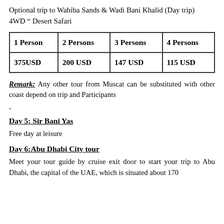Optional trip to Wahiba Sands & Wadi Bani Khalid (Day trip) 4WD " Desert Safari
| 1 Person | 2 Persons | 3 Persons | 4 Persons |
| --- | --- | --- | --- |
| 375USD | 200 USD | 147 USD | 115 USD |
Remark: Any other tour from Muscat can be substituted with other coast depend on trip and Participants
-
Day 5: Sir Bani Yas
Free day at leisure
Day 6:Abu Dhabi City tour
Meet your tour guide by cruise exit door to start your trip to Abu Dhabi, the capital of the UAE, which is situated about 170